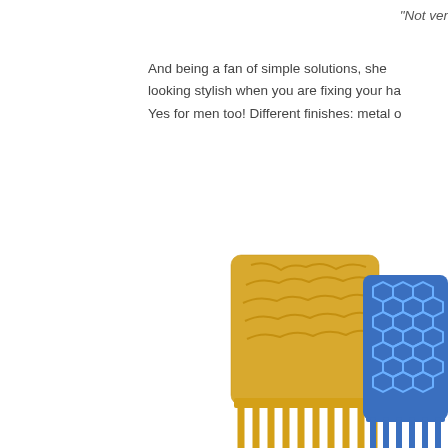"Not ver
And being a fan of simple solutions, she looking stylish when you are fixing your ha Yes for men too! Different finishes: metal o
[Figure (photo): Two decorative hair combs - one gold with organic cell/voronoi pattern and one blue with geometric hexagon pattern, partially visible, cropped at right edge]